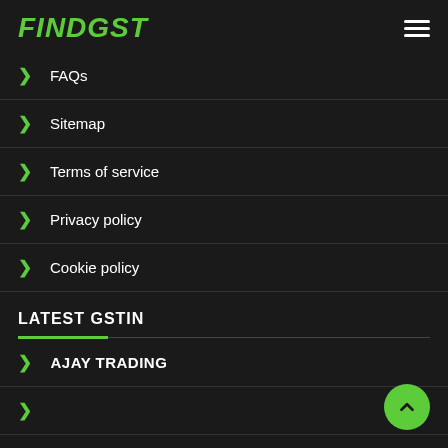FINDGST
FAQs
Sitemap
Terms of service
Privacy policy
Cookie policy
LATEST GSTIN
AJAY TRADING
CREATIVE CODE